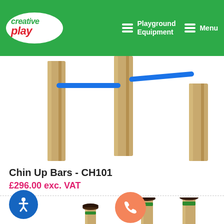[Figure (logo): Creative Play logo in white oval on green header, with hamburger menus for Playground Equipment and Menu navigation items]
[Figure (photo): Chin Up Bars playground equipment - CH101 showing wooden posts with a blue horizontal bar, 3D render on white background]
Chin Up Bars - CH101
£296.00 exc. VAT
[Figure (photo): Stepping posts playground equipment - multiple wooden posts with dark circular disc tops and green collars, partially visible, 3D render on white background]